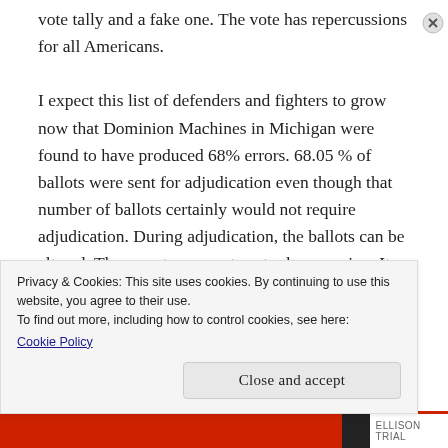vote tally and a fake one. The vote has repercussions for all Americans.

I expect this list of defenders and fighters to grow now that Dominion Machines in Michigan were found to have produced 68% errors. 68.05 % of ballots were sent for adjudication even though that number of ballots certainly would not require adjudication. During adjudication, the ballots can be altered. The report came out yesterday morning. It concludes that Dominion machine
Privacy & Cookies: This site uses cookies. By continuing to use this website, you agree to their use.
To find out more, including how to control cookies, see here:
Cookie Policy
Close and accept